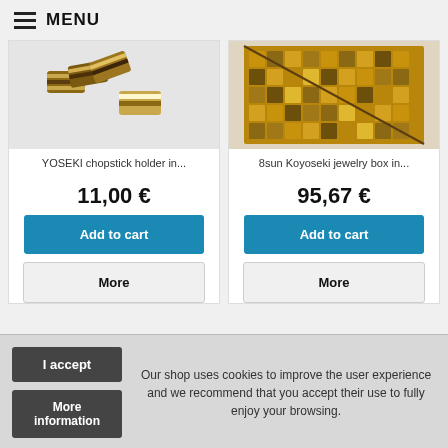≡ MENU
[Figure (photo): YOSEKI chopstick holder product image showing wooden striped pieces]
[Figure (photo): 8sun Koyoseki jewelry box product image showing ornate mosaic patterned wooden box]
YOSEKI chopstick holder in...
8sun Koyoseki jewelry box in...
11,00 €
95,67 €
Add to cart
Add to cart
More
More
I accept
More information
Our shop uses cookies to improve the user experience and we recommend that you accept their use to fully enjoy your browsing.